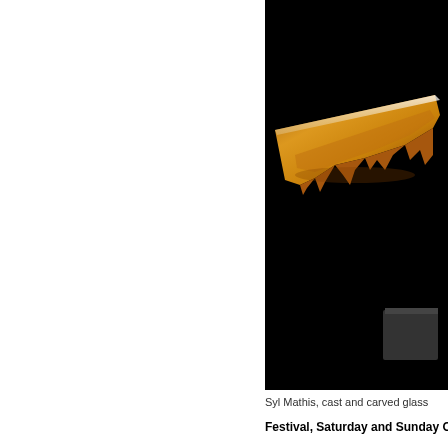[Figure (photo): A cast and carved glass sculpture by Syl Mathis, photographed against a black background. The piece features an elongated amber/orange translucent blade-like form extending diagonally from upper left to lower right, mounted on a dark rectangular base. The glass has an organic, irregular lower edge.]
Syl Mathis, cast and carved glass
Festival, Saturday and Sunday Oct